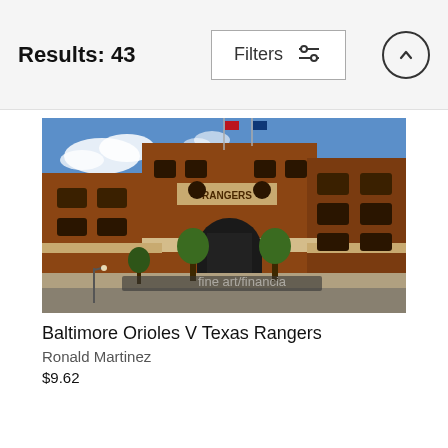Results: 43
[Figure (screenshot): UI filter button with sliders icon labeled 'Filters' and an up-arrow circular button]
[Figure (photo): Exterior photograph of Rangers Ballpark (Globe Life Park) in Arlington showing red-brick facade, arched entrance, trees, and crowds outside. Watermark 'fine art/financia' visible.]
Baltimore Orioles V Texas Rangers
Ronald Martinez
$9.62